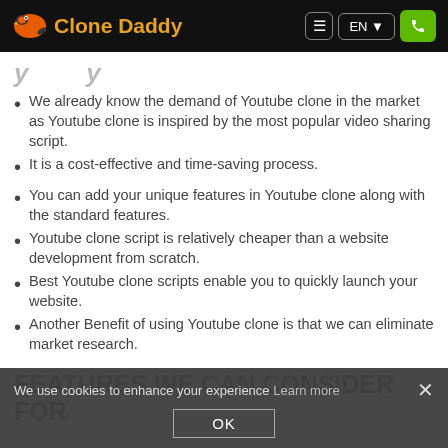Clone Daddy — Navigation bar with logo, menu, EN language selector, and phone button
y   y
We already know the demand of Youtube clone in the market as Youtube clone is inspired by the most popular video sharing script.
It is a cost-effective and time-saving process.
You can add your unique features in Youtube clone along with the standard features.
Youtube clone script is relatively cheaper than a website development from scratch.
Best Youtube clone scripts enable you to quickly launch your website.
Another Benefit of using Youtube clone is that we can eliminate market research.
FEATURES WE CAN CONSIDER FOR
We use cookies to enhance your experience Learn more OK